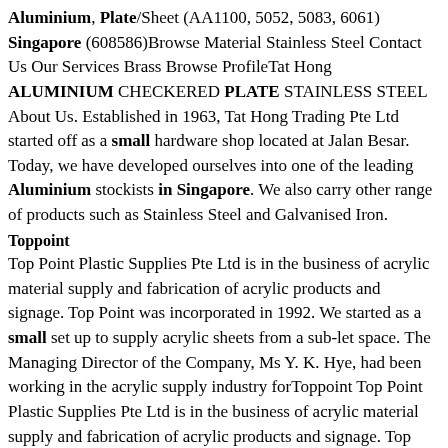Aluminium, Plate/Sheet (AA1100, 5052, 5083, 6061) Singapore (608586)Browse Material Stainless Steel Contact Us Our Services Brass Browse ProfileTat Hong ALUMINIUM CHECKERED PLATE STAINLESS STEEL About Us. Established in 1963, Tat Hong Trading Pte Ltd started off as a small hardware shop located at Jalan Besar. Today, we have developed ourselves into one of the leading Aluminium stockists in Singapore. We also carry other range of products such as Stainless Steel and Galvanised Iron.
Toppoint
Top Point Plastic Supplies Pte Ltd is in the business of acrylic material supply and fabrication of acrylic products and signage. Top Point was incorporated in 1992. We started as a small set up to supply acrylic sheets from a sub-let space. The Managing Director of the Company, Ms Y. K. Hye, had been working in the acrylic supply industry forToppoint Top Point Plastic Supplies Pte Ltd is in the business of acrylic material supply and fabrication of acrylic products and signage. Top Point was incorporated in 1992. We started as a